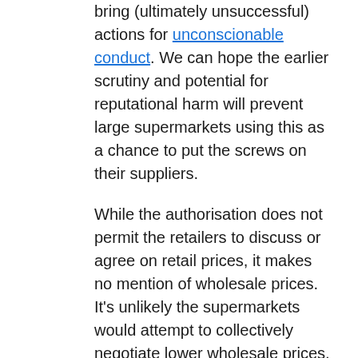bring (ultimately unsuccessful) actions for unconscionable conduct. We can hope the earlier scrutiny and potential for reputational harm will prevent large supermarkets using this as a chance to put the screws on their suppliers.
While the authorisation does not permit the retailers to discuss or agree on retail prices, it makes no mention of wholesale prices. It's unlikely the supermarkets would attempt to collectively negotiate lower wholesale prices, but we could see pressure on manufacturers to absorb cost increases during the crisis. If that happens, it could make supply constraints worse.
Who do we trust with our basic necessities?